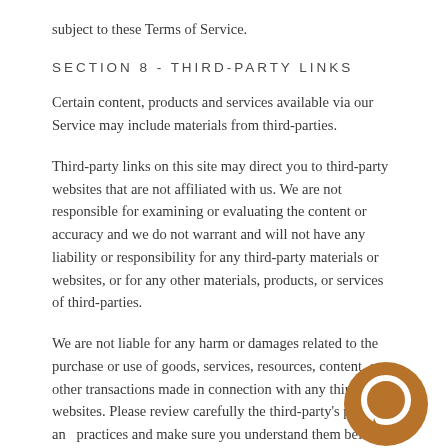subject to these Terms of Service.
SECTION 8 - THIRD-PARTY LINKS
Certain content, products and services available via our Service may include materials from third-parties.
Third-party links on this site may direct you to third-party websites that are not affiliated with us. We are not responsible for examining or evaluating the content or accuracy and we do not warrant and will not have any liability or responsibility for any third-party materials or websites, or for any other materials, products, or services of third-parties.
We are not liable for any harm or damages related to the purchase or use of goods, services, resources, content, or other transactions made in connection with any third-party websites. Please review carefully the third-party's policies and practices and make sure you understand them before you engage